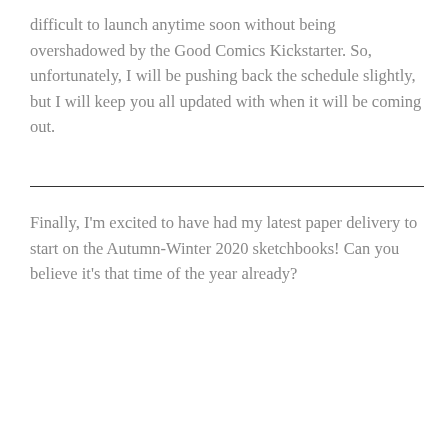difficult to launch anytime soon without being overshadowed by the Good Comics Kickstarter. So, unfortunately, I will be pushing back the schedule slightly, but I will keep you all updated with when it will be coming out.
Finally, I'm excited to have had my latest paper delivery to start on the Autumn-Winter 2020 sketchbooks! Can you believe it's that time of the year already?